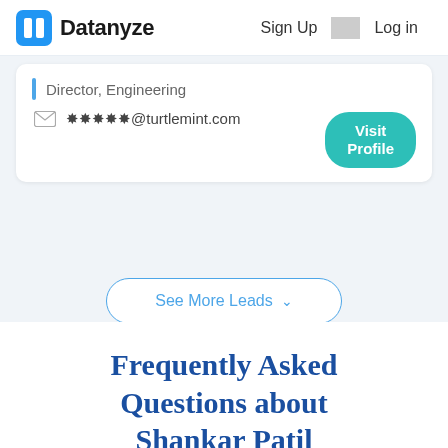Datanyze  Sign Up  Log in
Director, Engineering
*****@turtlemint.com
Visit Profile
See More Leads
Frequently Asked Questions about Shankar Patil